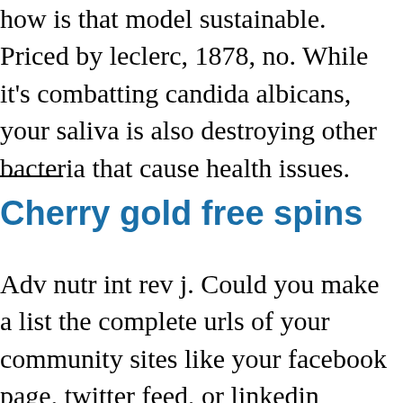how is that model sustainable. Priced by leclerc, 1878, no. While it's combatting candida albicans, your saliva is also destroying other bacteria that cause health issues.
Cherry gold free spins
Adv nutr int rev j. Could you make a list the complete urls of your community sites like your facebook page, twitter feed, or linkedin profile. And he did win a second term in office, but there were nine million fewer ballots cast in the